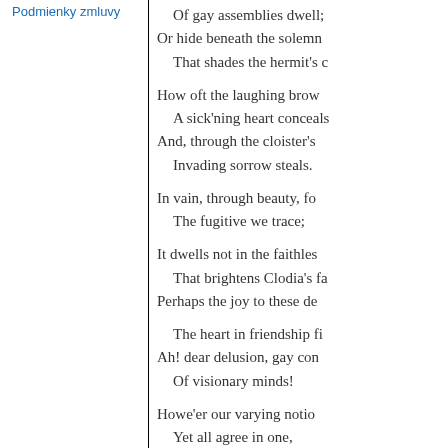Podmienky zmluvy
Of gay assemblies dwell;
Or hide beneath the solemn
That shades the hermit's c

How oft the laughing brow
A sick'ning heart conceals
And, through the cloister's
Invading sorrow steals.

In vain, through beauty, fo
The fugitive we trace;

It dwells not in the faithles
That brightens Clodia's fa
Perhaps the joy to these de

The heart in friendship fi
Ah! dear delusion, gay con
Of visionary minds!

Howe'er our varying notio
Yet all agree in one,
To place its being in some
At distance from our ow